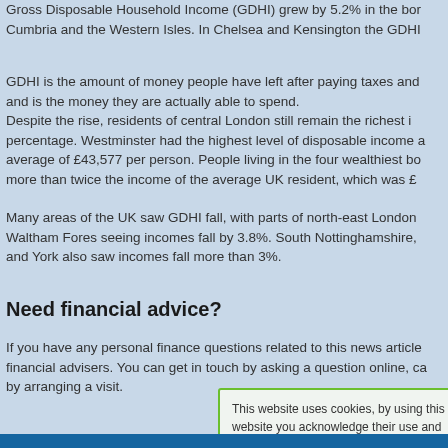Gross Disposable Household Income (GDHI) grew by 5.2% in the bo Cumbria and the Western Isles. In Chelsea and Kensington the GDHI
GDHI is the amount of money people have left after paying taxes and and is the money they are actually able to spend. Despite the rise, residents of central London still remain the richest i percentage. Westminster had the highest level of disposable income a average of £43,577 per person. People living in the four wealthiest bo more than twice the income of the average UK resident, which was £
Many areas of the UK saw GDHI fall, with parts of north-east London Waltham Fores seeing incomes fall by 3.8%. South Nottinghamshire, and York also saw incomes fall more than 3%.
Need financial advice?
If you have any personal finance questions related to this news article financial advisers. You can get in touch by asking a question online, ca by arranging a visit.
This website uses cookies, by using this website you acknowledge their use and give permission. To read more information regarding cookies, please click here Accept and dismiss